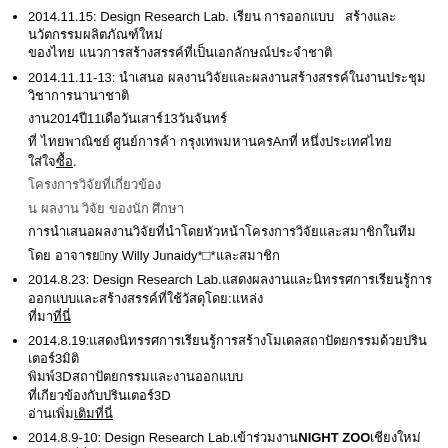2014.11.15: Design Research Lab. [Thai text] [Thai text]
2014.11.11-13: [Thai text]
[Thai text] 2014 11 11 [Thai text] 13 [Thai text]
[Thai text] An [Thai text]
[Thai text].
[Thai text]
[Thai text]
[Thai text]
[Thai text] Deny Willy Junaidy*[*][Thai text]
2014.8.23: Design Research Lab.[Thai text]
2014.8.19:[Thai text]
[Thai text]3D[Thai text]
[Thai text]
[Thai text]
2014.8.9-10: Design Research Lab.[Thai text] NIGHT ZOO [Thai text]
2014.8.1: Design Research Lab. [Thai text]